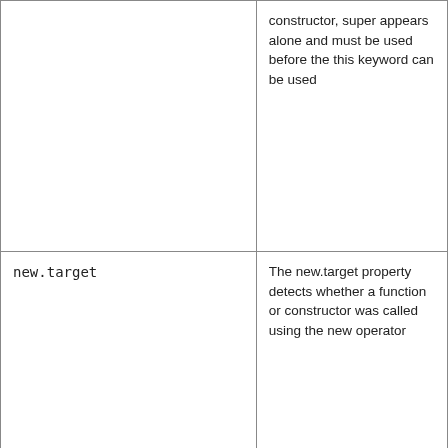|  | constructor, super appears alone and must be used before the this keyword can be used |
| new.target | The new.target property detects whether a function or constructor was called using the new operator |